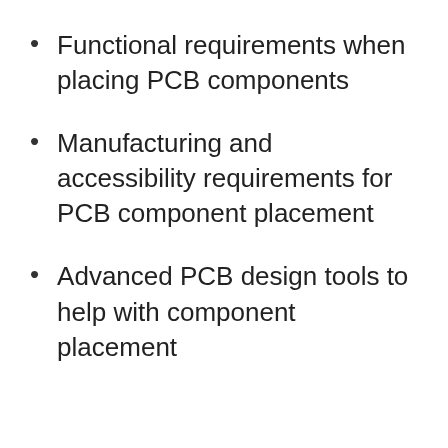Functional requirements when placing PCB components
Manufacturing and accessibility requirements for PCB component placement
Advanced PCB design tools to help with component placement